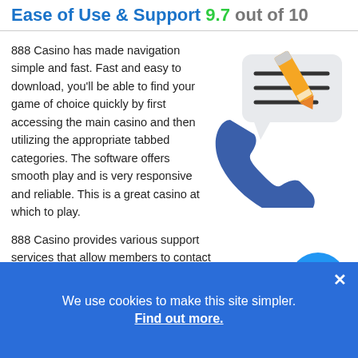Ease of Use & Support 9.7 out of 10
888 Casino has made navigation simple and fast. Fast and easy to download, you'll be able to find your game of choice quickly by first accessing the main casino and then utilizing the appropriate tabbed categories. The software offers smooth play and is very responsive and reliable. This is a great casino at which to play.
[Figure (illustration): Customer support icon: a blue telephone handset with a speech bubble containing horizontal lines and an orange pencil overlay]
888 Casino provides various support services that allow members to contact casino staff when necessary. There is a large FAQ section that will be able to answer most questions related to games or the casino itself, while any
[Figure (illustration): Blue circular up-arrow button icon]
We use cookies to make this site simpler. Find out more.